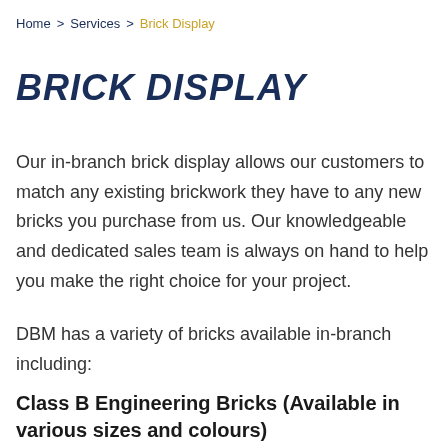Home > Services > Brick Display
BRICK DISPLAY
Our in-branch brick display allows our customers to match any existing brickwork they have to any new bricks you purchase from us. Our knowledgeable and dedicated sales team is always on hand to help you make the right choice for your project.
DBM has a variety of bricks available in-branch including:
Class B Engineering Bricks (Available in various sizes and colours)